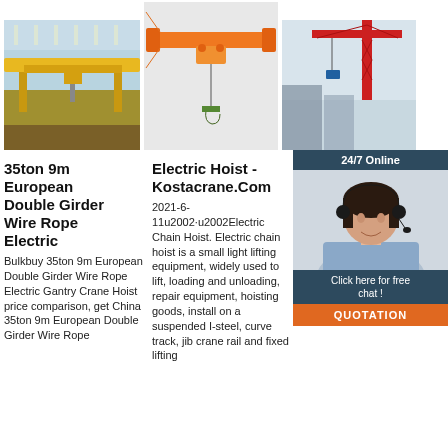[Figure (photo): Yellow overhead double girder crane in industrial factory interior]
[Figure (photo): Orange single girder electric hoist crane on white background]
[Figure (photo): Red tower crane on construction site with woman customer service agent overlay]
35ton 9m European Double Girder Wire Rope Electric
Bulkbuy 35ton 9m European Double Girder Wire Rope Electric Gantry Crane Hoist price comparison, get China 35ton 9m European Double Girder Wire Rope
Electric Hoist - Kostacrane.Com
2021-6-11u2002·u2002Electric Chain Hoist. Electric chain hoist is a small light lifting equipment, widely used to lift, loading and unloading, repair equipment, hoisting goods, install on a suspended I-steel, curve track, jib crane rail and fixed lifting
European Electric Nuclear Group
European Electric Hoist . Europe Standard Electric Hoist. 1. Capacity from 1ton to 80ton; 2. Lifting height from 6m to 100m; 3. Lifting speed is double speed or frequency inverter control; 4.
[Figure (infographic): 24/7 Online chat box with woman customer service agent, 'Click here for free chat!' and orange QUOTATION button]